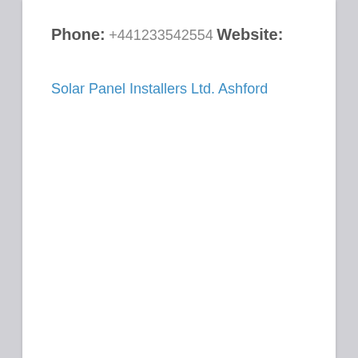Phone:
+441233542554
Website:
Solar Panel Installers Ltd. Ashford